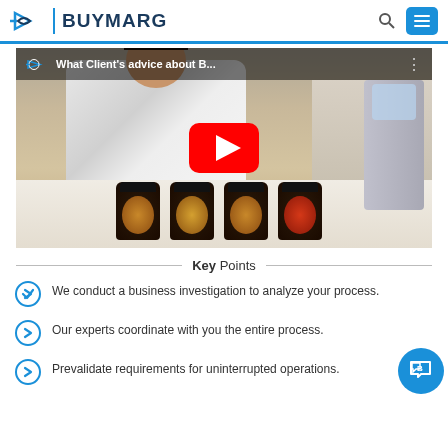BuyMarg
[Figure (screenshot): YouTube video thumbnail showing a woman sitting behind a table with four dark jars of food products. Video title reads 'What Client's advice about B...']
Key Points
We conduct a business investigation to analyze your process.
Our experts coordinate with you the entire process.
Prevalidate requirements for uninterrupted operations.